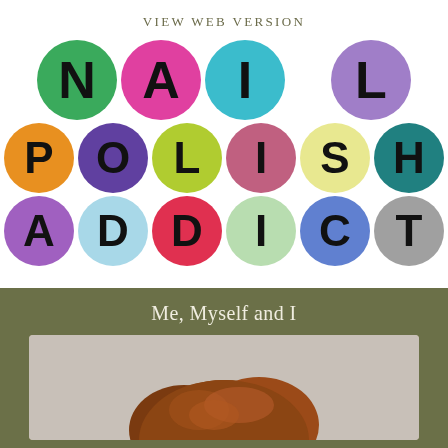VIEW WEB VERSION
[Figure (logo): Nail Polish Addict logo with colorful circles containing bold black letters spelling out NAIL POLISH ADDICT across three rows]
Me, Myself and I
[Figure (photo): Photo of a person with reddish-brown hair, shown from behind/top, against a light gray background]